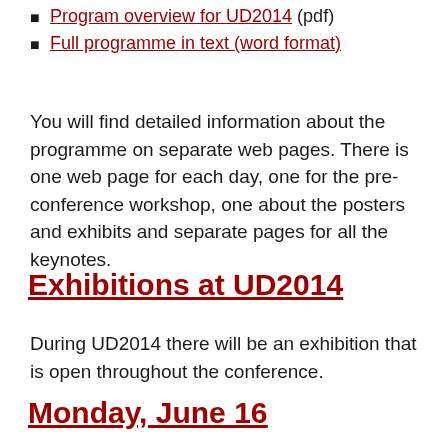Program overview for UD2014 (pdf)
Full programme in text (word format)
You will find detailed information about the programme on separate web pages. There is one web page for each day, one for the pre-conference workshop, one about the posters and exhibits and separate pages for all the keynotes.
Exhibitions at UD2014
During UD2014 there will be an exhibition that is open throughout the conference.
Monday, June 16